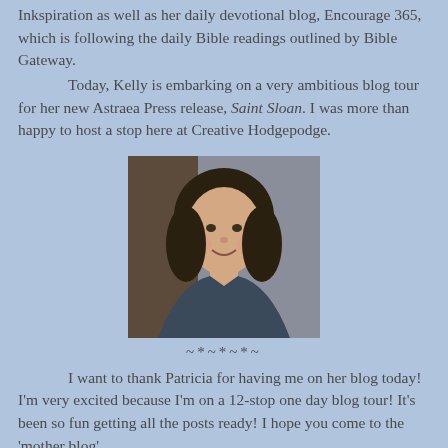Inkspiration as well as her daily devotional blog, Encourage 365, which is following the daily Bible readings outlined by Bible Gateway.
Today, Kelly is embarking on a very ambitious blog tour for her new Astraea Press release, Saint Sloan. I was more than happy to host a stop here at Creative Hodgepodge.
[Figure (photo): Photo of a young woman with dark hair and light highlights, smiling, seated indoors]
~*~*~*~
I want to thank Patricia for having me on her blog today! I'm very excited because I'm on a 12-stop one day blog tour! It's been so fun getting all the posts ready! I hope you come to the 'mother blog'